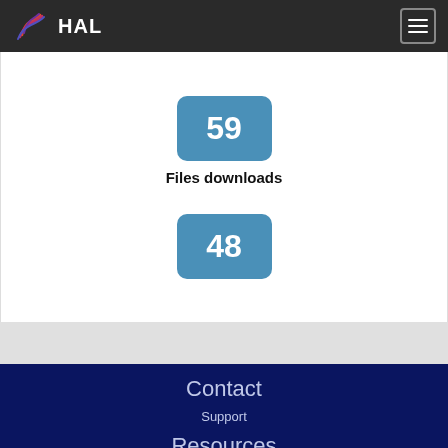HAL
59
Files downloads
48
Contact
Support
Resources
Documentation
FAQ
API